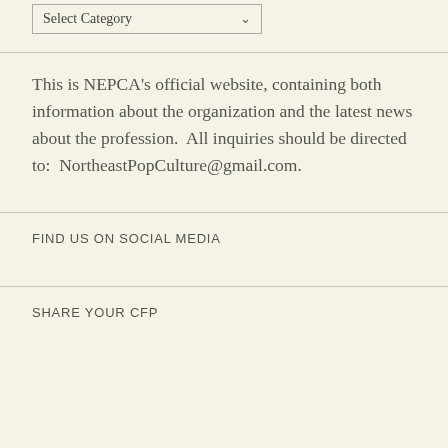[Figure (screenshot): A dropdown UI element labeled 'Select Category' with a downward chevron arrow, styled with a border on a cream background.]
This is NEPCA's official website, containing both information about the organization and the latest news about the profession.  All inquiries should be directed to:  NortheastPopCulture@gmail.com.
FIND US ON SOCIAL MEDIA
SHARE YOUR CFP